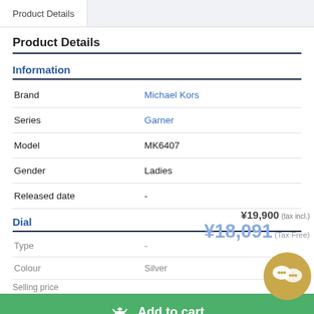Product Details
Product Details
Information
|  |  |
| --- | --- |
| Brand | Michael Kors |
| Series | Garner |
| Model | MK6407 |
| Gender | Ladies |
| Released date | - |
Dial
|  |  |
| --- | --- |
| Type | - |
| Colour | Silver |
| Finish | - |
| Indexes | Index |
Selling price ¥19,900 (tax incl.) ¥18,091 (Tax Free)
Add to cart